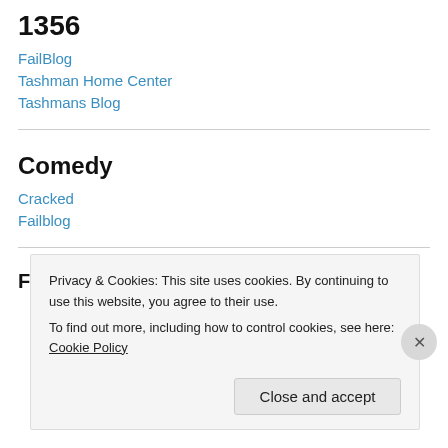1356
FailBlog
Tashman Home Center
Tashmans Blog
Comedy
Cracked
Failblog
Friends
Privacy & Cookies: This site uses cookies. By continuing to use this website, you agree to their use.
To find out more, including how to control cookies, see here: Cookie Policy
Close and accept